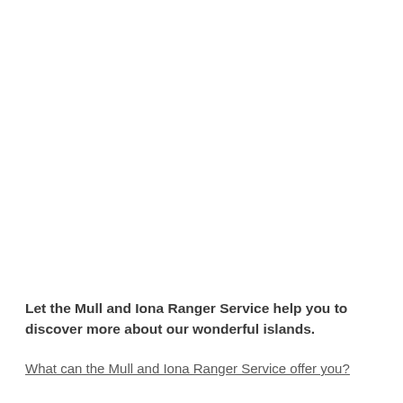Let the Mull and Iona Ranger Service help you to discover more about our wonderful islands.
What can the Mull and Iona Ranger Service offer you?